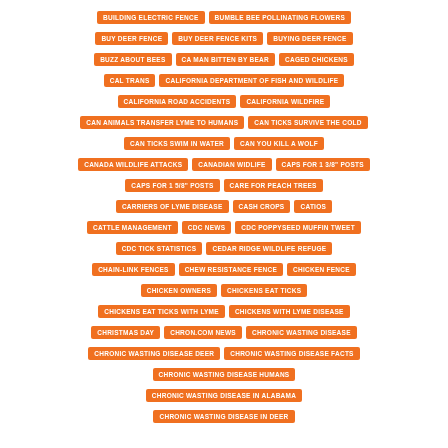BUILDING ELECTRIC FENCE
BUMBLE BEE POLLINATING FLOWERS
BUY DEER FENCE
BUY DEER FENCE KITS
BUYING DEER FENCE
BUZZ ABOUT BEES
CA MAN BITTEN BY BEAR
CAGED CHICKENS
CAL TRANS
CALIFORNIA DEPARTMENT OF FISH AND WILDLIFE
CALIFORNIA ROAD ACCIDENTS
CALIFORNIA WILDFIRE
CAN ANIMALS TRANSFER LYME TO HUMANS
CAN TICKS SURVIVE THE COLD
CAN TICKS SWIM IN WATER
CAN YOU KILL A WOLF
CANADA WILDLIFE ATTACKS
CANADIAN WIDLIFE
CAPS FOR 1 3/8" POSTS
CAPS FOR 1 5/8" POSTS
CARE FOR PEACH TREES
CARRIERS OF LYME DISEASE
CASH CROPS
CATIOS
CATTLE MANAGEMENT
CDC NEWS
CDC POPPYSEED MUFFIN TWEET
CDC TICK STATISTICS
CEDAR RIDGE WILDLIFE REFUGE
CHAIN-LINK FENCES
CHEW RESISTANCE FENCE
CHICKEN FENCE
CHICKEN OWNERS
CHICKENS EAT TICKS
CHICKENS EAT TICKS WITH LYME
CHICKENS WITH LYME DISEASE
CHRISTMAS DAY
CHRON.COM NEWS
CHRONIC WASTING DISEASE
CHRONIC WASTING DISEASE DEER
CHRONIC WASTING DISEASE FACTS
CHRONIC WASTING DISEASE HUMANS
CHRONIC WASTING DISEASE IN ALABAMA
CHRONIC WASTING DISEASE IN DEER